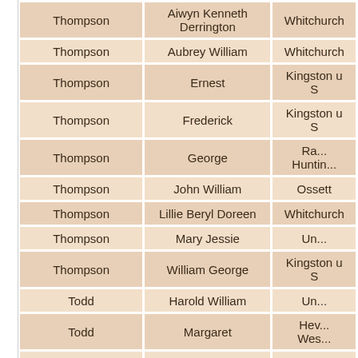| Surname | First Name | Location |
| --- | --- | --- |
| Thompson | Aiwyn Kenneth Derrington | Whitchurch |
| Thompson | Aubrey William | Whitchurch |
| Thompson | Ernest | Kingston u S |
| Thompson | Frederick | Kingston u S |
| Thompson | George | Ra... Huntin... |
| Thompson | John William | Ossett |
| Thompson | Lillie Beryl Doreen | Whitchurch |
| Thompson | Mary Jessie | Un... |
| Thompson | William George | Kingston u S |
| Todd | Harold William | Un... |
| Todd | Margaret | Hev... Wes... |
| Tovey | Charles Frederick | Fulham |
| Traynor | Mary | Un... |
| Turner | Ellen | Bickley |